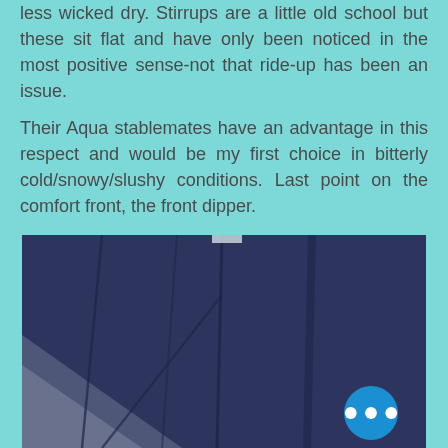less wicked dry. Stirrups are a little old school but these sit flat and have only been noticed in the most positive sense-not that ride-up has been an issue.
Their Aqua stablemates have an advantage in this respect and would be my first choice in bitterly cold/snowy/slushy conditions. Last point on the comfort front, the front dipper.
[Figure (photo): Close-up photo of navy blue fleece or tight fabric showing seam lines and strap details, with a light grey/white area visible in lower left corner.]